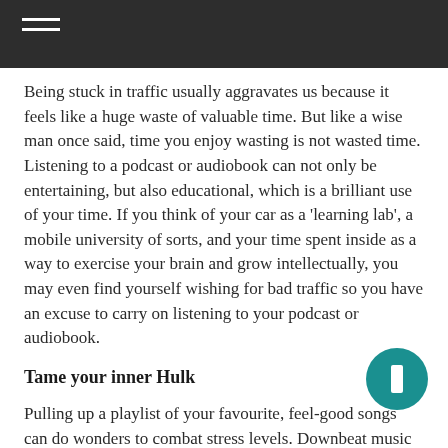Being stuck in traffic usually aggravates us because it feels like a huge waste of valuable time. But like a wise man once said, time you enjoy wasting is not wasted time. Listening to a podcast or audiobook can not only be entertaining, but also educational, which is a brilliant use of your time. If you think of your car as a 'learning lab', a mobile university of sorts, and your time spent inside as a way to exercise your brain and grow intellectually, you may even find yourself wishing for bad traffic so you have an excuse to carry on listening to your podcast or audiobook.
Tame your inner Hulk
Pulling up a playlist of your favourite, feel-good songs can do wonders to combat stress levels. Downbeat music has been proven to have a mellowing effect on drivers. Making a quick switch to downbeat music shows measurable physiological